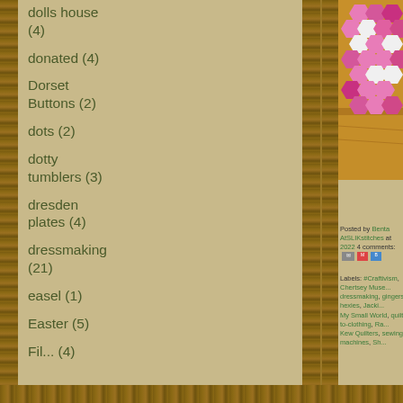dolls house (4)
donated (4)
Dorset Buttons (2)
dots (2)
dotty tumblers (3)
dresden plates (4)
dressmaking (21)
easel (1)
Easter (5)
Fil... (4)
[Figure (photo): Pink and white hexagon quilt pieces arranged on a wooden surface, with floral pink fabric hexagons surrounding white center hexagons]
Posted by Benta AtSLIKstitches at 2022  4 comments:
Labels: #Craftivism, Chertsey Muse... dressmaking, gingers, hexies, Jacki... My Small World, quilt-to-clothing, Ra... Kew Quilters, sewing machines, Sh...